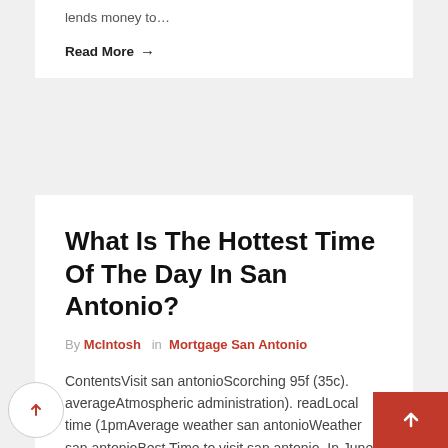lends money to…
Read More →
What Is The Hottest Time Of The Day In San Antonio?
By McIntosh in Mortgage San Antonio
ContentsVisit san antonioScorching 95f (35c). averageAtmospheric administration). readLocal time (1pmAverage weather san antonioWeather san antonioBest Time to visit san antonio. In June, the average tops out at 91 degrees. These…
Read More →